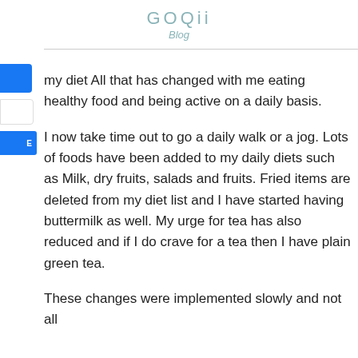GOQii
Blog
my diet All that has changed with me eating healthy food and being active on a daily basis.
I now take time out to go a daily walk or a jog. Lots of foods have been added to my daily diets such as Milk, dry fruits, salads and fruits. Fried items are deleted from my diet list and I have started having buttermilk as well. My urge for tea has also reduced and if I do crave for a tea then I have plain green tea.
These changes were implemented slowly and not all